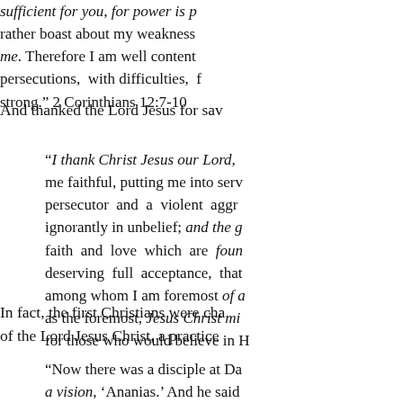sufficient for you, for power is p... rather boast about my weakness... me. Therefore I am well content... persecutions, with difficulties, f... strong." 2 Corinthians 12:7-10
And thanked the Lord Jesus for sav...
“I thank Christ Jesus our Lord,... me faithful, putting me into serv... persecutor and a violent aggr... ignorantly in unbelief; and the g... faith and love which are foun... deserving full acceptance, that ... among whom I am foremost of a... as the foremost, Jesus Christ mi... for those who would believe in H...
In fact, the first Christians were cha... of the Lord Jesus Christ, a practice ...
“Now there was a disciple at Da... a vision, ‘Ananias.’ And he said... up and go to the street called St... for a T... and S... f...